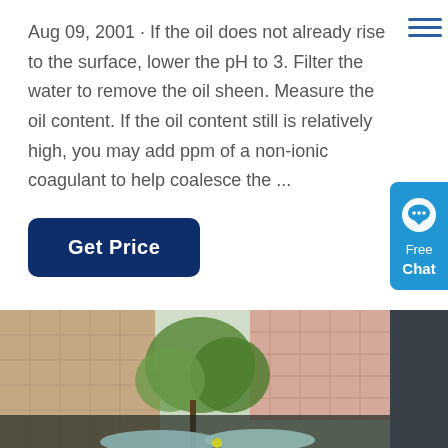Aug 09, 2001 · If the oil does not already rise to the surface, lower the pH to 3. Filter the water to remove the oil sheen. Measure the oil content. If the oil content still is relatively high, you may add ppm of a non-ionic coagulant to help coalesce the ...
[Figure (other): Get Price button — dark navy rounded rectangle]
[Figure (other): Free Chat widget — blue rounded rectangle with chat bubble icon, text 'Free Chat']
[Figure (photo): Outdoor photo showing a city building and green trees viewed through a window, with a reflective metallic object in the foreground bottom]